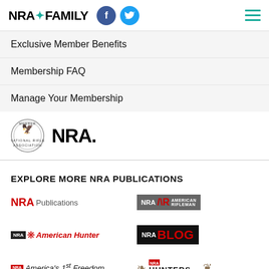[Figure (logo): NRA Family logo with teal star, Facebook and Twitter social icons, and hamburger menu]
Exclusive Member Benefits
Membership FAQ
Manage Your Membership
[Figure (logo): NRA Member seal (circular badge) and NRA bold text logo]
EXPLORE MORE NRA PUBLICATIONS
[Figure (logo): NRA Publications logo]
[Figure (logo): NRA American Rifleman logo]
[Figure (logo): NRA American Hunter logo]
[Figure (logo): NRA Blog logo]
[Figure (logo): NRA America's 1st Freedom logo]
[Figure (logo): Hunters Leadership Forum logo]